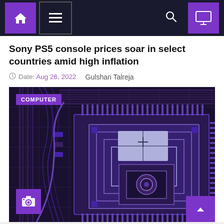Navigation bar with home, menu, search, and monitor icons
Sony PS5 console prices soar in select countries amid high inflation
Date: Aug 26, 2022   Gulshan Talreja
[Figure (photo): Close-up photograph of a computer circuit board/processor chip in dark purple/blue tones with a 'COMPUTER' label badge overlay, camera icon at bottom left, and scroll-to-top arrow at bottom right]